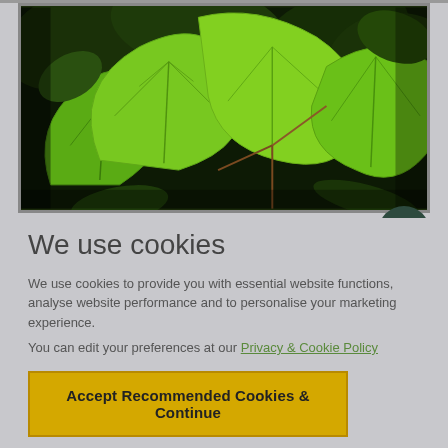[Figure (photo): Close-up photograph of large green heart-shaped leaves (Japanese knotweed or similar plant) on dark background, surrounded by lush vegetation]
We use cookies
We use cookies to provide you with essential website functions, analyse website performance and to personalise your marketing experience.
You can edit your preferences at our Privacy & Cookie Policy
Accept Recommended Cookies & Continue